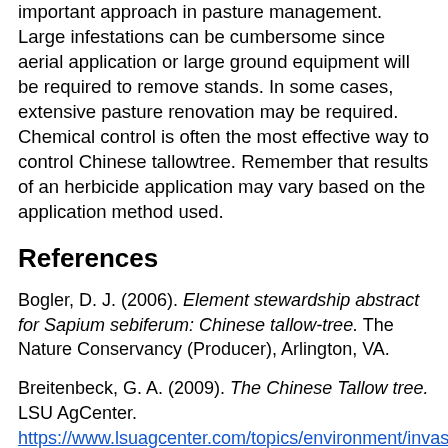important approach in pasture management. Large infestations can be cumbersome since aerial application or large ground equipment will be required to remove stands. In some cases, extensive pasture renovation may be required. Chemical control is often the most effective way to control Chinese tallowtree. Remember that results of an herbicide application may vary based on the application method used.
References
Bogler, D. J. (2006). Element stewardship abstract for Sapium sebiferum: Chinese tallow-tree. The Nature Conservancy (Producer), Arlington, VA.
Breitenbeck, G. A. (2009). The Chinese Tallow tree. LSU AgCenter. https://www.lsuagcenter.com/topics/environment/invasive
Cameron, G. N., & LaPoint, T. W. (1978). Effects of tannins on the decomposition of Chinese tallow-tree leaves...